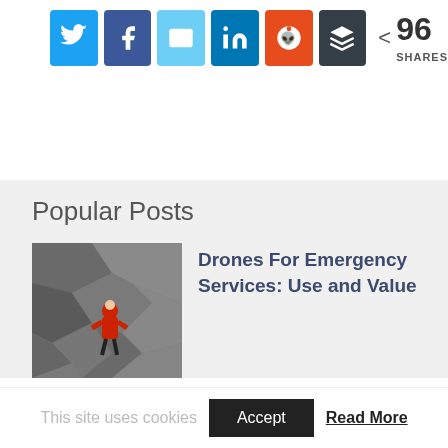[Figure (infographic): Social share buttons: Twitter (blue), Facebook (dark blue), Email (light blue), LinkedIn (blue), Reddit (orange-red), Buffer (dark gray), followed by a share count showing 96 SHARES]
Popular Posts
[Figure (photo): A person in red jacket climbing or working on a rocky mountain face]
Drones For Emergency Services: Use and Value
This site uses cookies
Accept
Read More